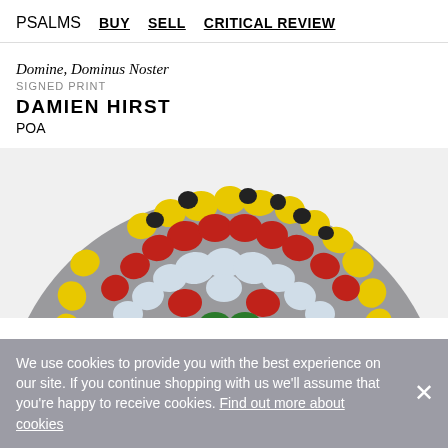PSALMS   BUY   SELL   CRITICAL REVIEW
Domine, Dominus Noster
SIGNED PRINT
DAMIEN HIRST
POA
[Figure (photo): Circular mosaic artwork by Damien Hirst showing colourful stained glass fragments in yellow, red, green, white, and blue arranged in a radial pattern on a grey background. Only the upper half-circle is visible, cropped at the bottom.]
We use cookies to provide you with the best experience on our site. If you continue shopping with us we'll assume that you're happy to receive cookies. Find out more about cookies